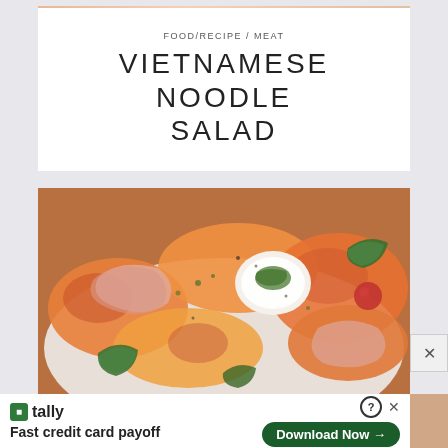[Figure (photo): Partial top crop of a food photo — pink/peach tones, likely matching Vietnamese noodle salad image]
FOOD/RECIPE / MEAT
VIETNAMESE NOODLE SALAD
[Figure (photo): Close-up food photograph of a salad with sliced peaches or nectarines, prosciutto, burrata cheese, fresh basil leaves, cherry tomatoes, and herb dressing in a white bowl]
[Figure (infographic): Advertisement banner: Tally app — Fast credit card payoff — Download Now button]